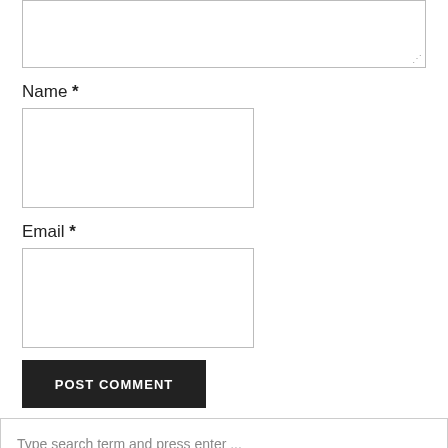Name *
Email *
POST COMMENT
Type search term and press enter ...